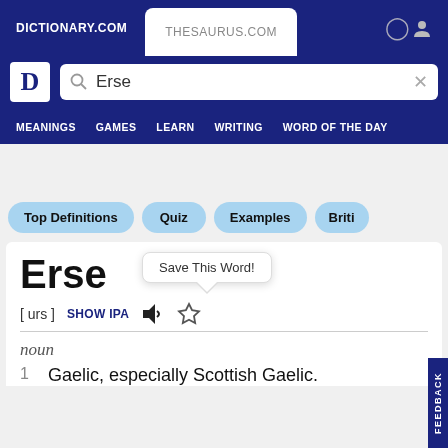DICTIONARY.COM  THESAURUS.COM
Erse
Top Definitions  Quiz  Examples  Briti
Erse
[ urs ]  SHOW IPA
Save This Word!
noun
1  Gaelic, especially Scottish Gaelic.